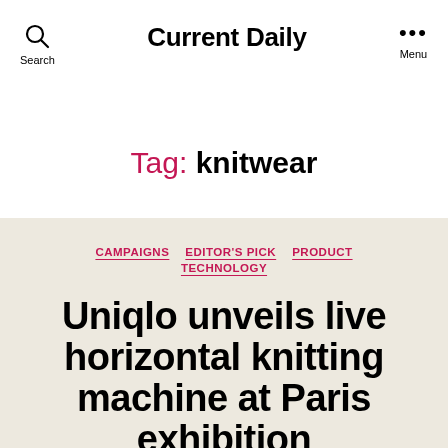Current Daily
Tag: knitwear
CAMPAIGNS
EDITOR'S PICK
PRODUCT
TECHNOLOGY
Uniqlo unveils live horizontal knitting machine at Paris exhibition